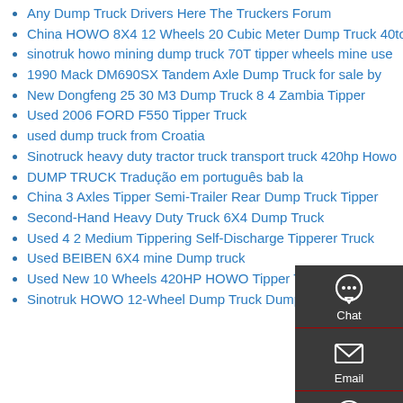Any Dump Truck Drivers Here The Truckers Forum
China HOWO 8X4 12 Wheels 20 Cubic Meter Dump Truck 40ton
sinotruk howo mining dump truck 70T tipper wheels mine use
1990 Mack DM690SX Tandem Axle Dump Truck for sale by
New Dongfeng 25 30 M3 Dump Truck 8 4 Zambia Tipper
Used 2006 FORD F550 Tipper Truck
used dump truck from Croatia
Sinotruck heavy duty tractor truck transport truck 420hp Howo
DUMP TRUCK Tradução em português bab la
China 3 Axles Tipper Semi-Trailer Rear Dump Truck Tipper
Second-Hand Heavy Duty Truck 6X4 Dump Truck
Used 4 2 Medium Tippering Self-Discharge Tipperer Truck
Used BEIBEN 6X4 mine Dump truck
Used New 10 Wheels 420HP HOWO Tipper Truck
Sinotruk HOWO 12-Wheel Dump Truck Dump Tipper on Sale
[Figure (infographic): Sidebar with chat, email, contact, and top navigation icons on dark gray background]